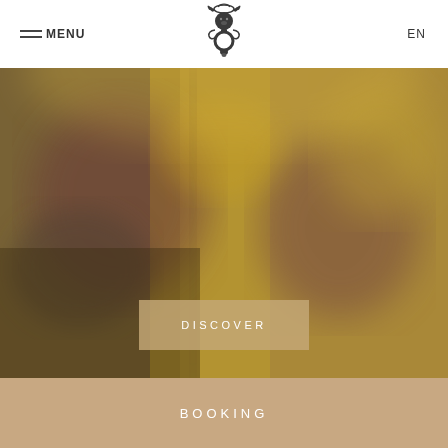MENU | EN
[Figure (logo): Ornate decorative door knocker logo in dark metal, featuring a lion face with scrollwork and a ring]
[Figure (photo): Blurred close-up photograph of an ornate door knocker on a golden/brown door, warm tones with bokeh effect]
DISCOVER
BOOKING